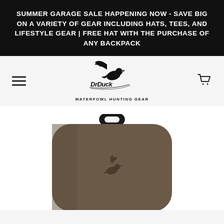SUMMER GARAGE SALE HAPPENING NOW - SAVE BIG ON A VARIETY OF GEAR INCLUDING HATS, TEES, AND LIFESTYLE GEAR | FREE HAT WITH THE PURCHASE OF ANY BACKPACK
[Figure (logo): Dr. Duck Waterfowl Hunting Gear logo — flying duck with wings spread, stylized text 'DrDuck' and subtitle 'WATERFOWL HUNTING GEAR']
[Figure (photo): Brown/olive colored hard-shell bag or case with a top handle and a flying duck logo embossed on the front, shown cropped from the top on a white background]